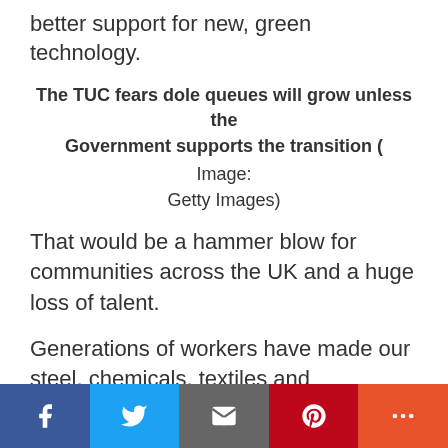better support for new, green technology.
The TUC fears dole queues will grow unless the Government supports the transition (
Image:
Getty Images)
That would be a hammer blow for communities across the UK and a huge loss of talent.
Generations of workers have made our steel, chemicals, textiles and manufacturing industries the envy of the world. Their legacy must not be squandered.
Facebook Twitter Email Pinterest More